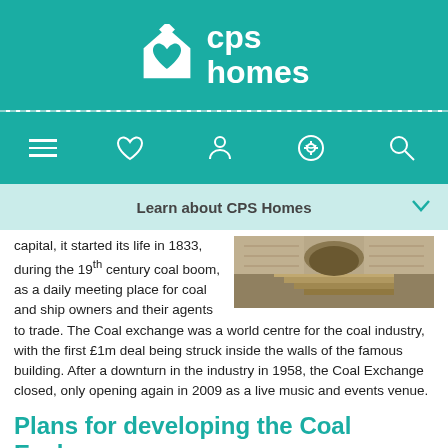cps homes
[Figure (logo): CPS Homes logo with house/heart icon and text 'cps homes' on teal background]
[Figure (screenshot): Navigation bar with hamburger menu, heart, person, phone, and search icons on teal background]
Learn about CPS Homes
capital, it started its life in 1833, during the 19th century coal boom, as a daily meeting place for coal and ship owners and their agents to trade. The Coal exchange was a world centre for the coal industry, with the first £1m deal being struck inside the walls of the famous building. After a downturn in the industry in 1958, the Coal Exchange closed, only opening again in 2009 as a live music and events venue.
[Figure (photo): Photograph of stone steps and archway, possibly the Coal Exchange building]
Plans for developing the Coal Exchange
The 140,000 square foot building is owned by developers